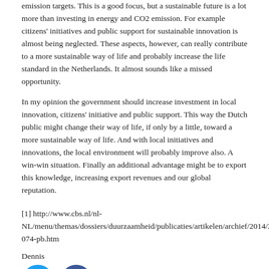emission targets. This is a good focus, but a sustainable future is a lot more than investing in energy and CO2 emission. For example citizens' initiatives and public support for sustainable innovation is almost being neglected. These aspects, however, can really contribute to a more sustainable way of life and probably increase the life standard in the Netherlands. It almost sounds like a missed opportunity.
In my opinion the government should increase investment in local innovation, citizens' initiative and public support. This way the Dutch public might change their way of life, if only by a little, toward a more sustainable way of life. And with local initiatives and innovations, the local environment will probably improve also. A win-win situation. Finally an additional advantage might be to export this knowledge, increasing export revenues and our global reputation.
[1] http://www.cbs.nl/nl-NL/menu/themas/dossiers/duurzaamheid/publicaties/artikelen/archief/2014/2014-074-pb.htm
Dennis
[Figure (illustration): Twitter and Facebook social media icons — two circular buttons, Twitter (blue bird) and Facebook (blue f logo)]
Log on or sign up to comment.
Part of